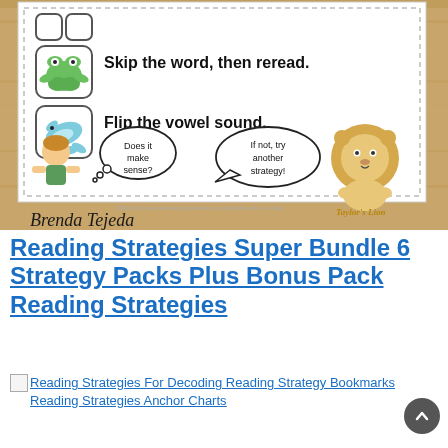[Figure (illustration): Educational reading strategies anchor chart showing animal icons (frog, dolphin) with strategies 'Skip the word, then reread.' and 'Flip the vowel sound.' A child figure with thought bubble 'Does it make sense?' and speech bubble 'If not, try another strategy!' with a lion mascot. Displayed on a wooden surface with 'Brenda Tejeda' signature.]
Reading Strategies Super Bundle 6 Strategy Packs Plus Bonus Pack Reading Strategies
[Figure (illustration): Broken image icon placeholder for Reading Strategies For Decoding Reading Strategy Bookmarks Reading Strategies Anchor Charts]
Reading Strategies For Decoding Reading Strategy Bookmarks Reading Strategies Anchor Charts